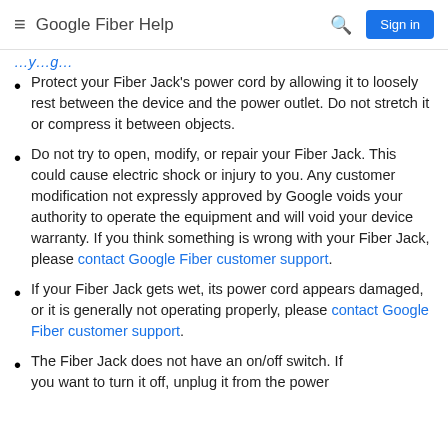Google Fiber Help  Sign in
…y…g…
Protect your Fiber Jack's power cord by allowing it to loosely rest between the device and the power outlet. Do not stretch it or compress it between objects.
Do not try to open, modify, or repair your Fiber Jack. This could cause electric shock or injury to you. Any customer modification not expressly approved by Google voids your authority to operate the equipment and will void your device warranty. If you think something is wrong with your Fiber Jack, please contact Google Fiber customer support.
If your Fiber Jack gets wet, its power cord appears damaged, or it is generally not operating properly, please contact Google Fiber customer support.
The Fiber Jack does not have an on/off switch. If you want to turn it off, unplug it from the power…